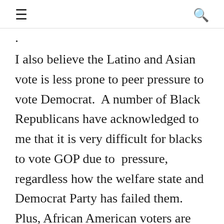≡  🔍
I also believe the Latino and Asian vote is less prone to peer pressure to vote Democrat.  A number of Black Republicans have acknowledged to me that it is very difficult for blacks to vote GOP due to  pressure, regardless how the welfare state and Democrat Party has failed them.   Plus, African American voters are ultra-sensitive to racial stereotyping